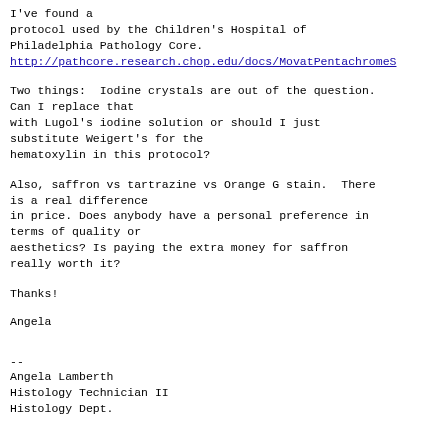I've found a
protocol used by the Children's Hospital of
Philadelphia Pathology Core.
http://pathcore.research.chop.edu/docs/MovatPentachromeS
Two things:  Iodine crystals are out of the question.
Can I replace that
with Lugol's iodine solution or should I just
substitute Weigert's for the
hematoxylin in this protocol?
Also, saffron vs tartrazine vs Orange G stain.  There
is a real difference
in price. Does anybody have a personal preference in
terms of quality or
aesthetics? Is paying the extra money for saffron
really worth it?
Thanks!
Angela
--
Angela Lamberth
Histology Technician II
Histology Dept.